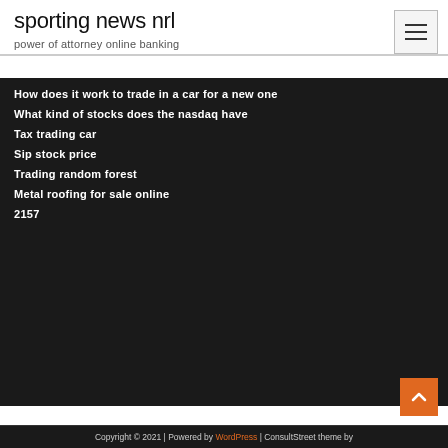sporting news nrl
power of attorney online banking
How does it work to trade in a car for a new one
What kind of stocks does the nasdaq have
Tax trading car
Sip stock price
Trading random forest
Metal roofing for sale online
2157
Copyright © 2021 | Powered by WordPress | ConsultStreet theme by